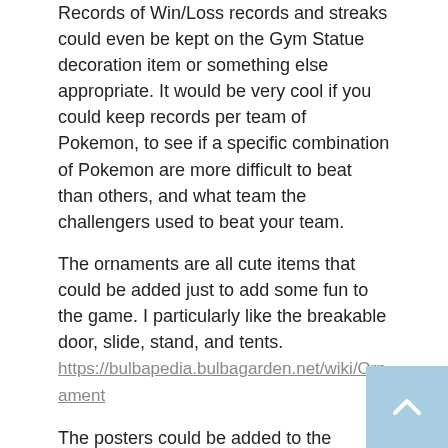Records of Win/Loss records and streaks could even be kept on the Gym Statue decoration item or something else appropriate. It would be very cool if you could keep records per team of Pokemon, to see if a specific combination of Pokemon are more difficult to beat than others, and what team the challengers used to beat your team.
The ornaments are all cute items that could be added just to add some fun to the game. I particularly like the breakable door, slide, stand, and tents.
https://bulbapedia.bulbagarden.net/wiki/Ornament
The posters could be added to the paintings in the game.
https://bulbapedia.bulbagarden.net/wiki ... on#Posters
https://serebii.net/omegarubyalphasapph ... ions.shtml
Capture the flag could be implemented from these. Secret base items could also be a great way to show off the Trainer Card you have to other people.
Additionally, I've seen a previous suggestion to add dolls of Pokemon to the games and the games already have plenty of